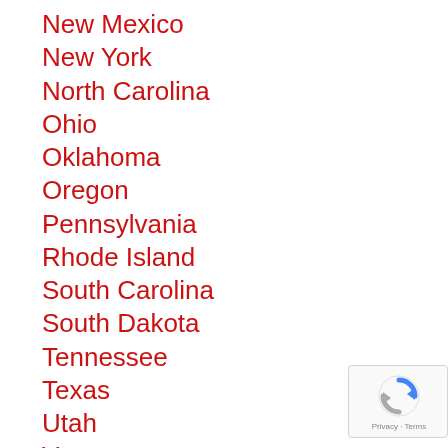New Mexico
New York
North Carolina
Ohio
Oklahoma
Oregon
Pennsylvania
Rhode Island
South Carolina
South Dakota
Tennessee
Texas
Utah
Vermont
Virginia
Washington
West Virginia
[Figure (logo): Google reCAPTCHA badge with Privacy and Terms text]